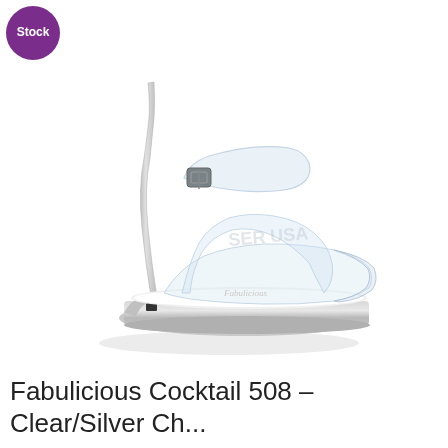[Figure (photo): A clear/transparent high-heel sandal with silver chrome platform base. The shoe features a stiletto heel, clear PVC upper straps with a buckle ankle strap, and a silver metallic platform sole. White background product photo with a watermark reading 'SER USA'. A purple circular badge in the top-left corner reads 'Stock'.]
Fabulicious Cocktail 508 – Clear/Silver Ch...